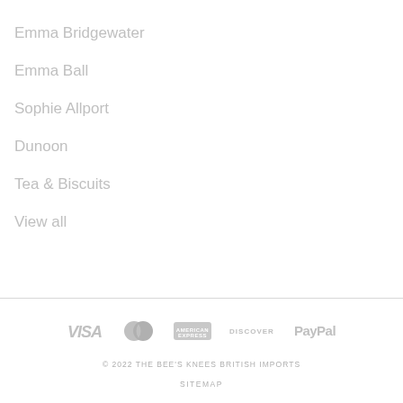Emma Bridgewater
Emma Ball
Sophie Allport
Dunoon
Tea & Biscuits
View all
[Figure (logo): Payment method icons: VISA, MasterCard, American Express, Discover, PayPal — all in gray]
© 2022 THE BEE'S KNEES BRITISH IMPORTS
SITEMAP